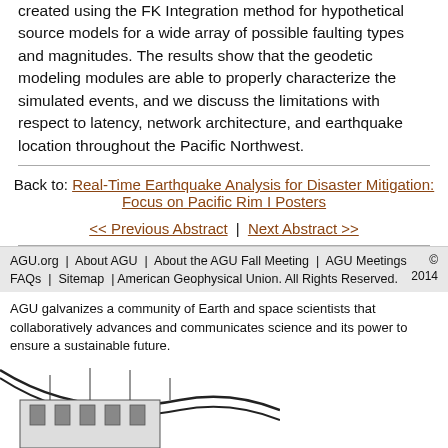created using the FK Integration method for hypothetical source models for a wide array of possible faulting types and magnitudes. The results show that the geodetic modeling modules are able to properly characterize the simulated events, and we discuss the limitations with respect to latency, network architecture, and earthquake location throughout the Pacific Northwest.
Back to: Real-Time Earthquake Analysis for Disaster Mitigation: Focus on Pacific Rim I Posters
<< Previous Abstract | Next Abstract >>
AGU.org | About AGU | About the AGU Fall Meeting | AGU Meetings © 2014 FAQs | Sitemap | American Geophysical Union. All Rights Reserved.
AGU galvanizes a community of Earth and space scientists that collaboratively advances and communicates science and its power to ensure a sustainable future.
[Figure (illustration): Partial view of a building or structure illustration at the bottom of the page, showing cables and structural elements.]